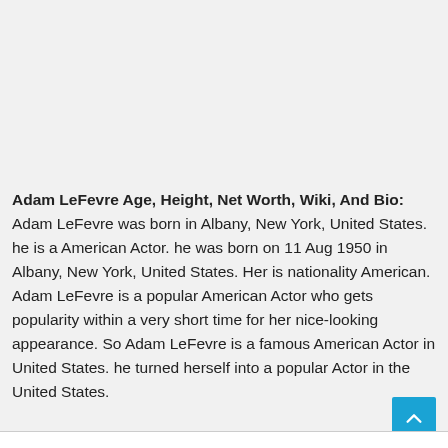Adam LeFevre Age, Height, Net Worth, Wiki, And Bio: Adam LeFevre was born in Albany, New York, United States. he is a American Actor. he was born on 11 Aug 1950 in Albany, New York, United States. Her is nationality American. Adam LeFevre is a popular American Actor who gets popularity within a very short time for her nice-looking appearance. So Adam LeFevre is a famous American Actor in United States. he turned herself into a popular Actor in the United States.